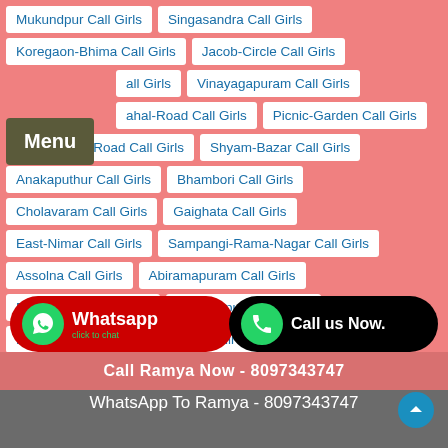Mukundpur Call Girls
Singasandra Call Girls
Koregaon-Bhima Call Girls
Jacob-Circle Call Girls
Call Girls
Vinayagapuram Call Girls
ahal-Road Call Girls
Picnic-Garden Call Girls
Ghosh-Para-Road Call Girls
Shyam-Bazar Call Girls
Anakaputhur Call Girls
Bhambori Call Girls
Cholavaram Call Girls
Gaighata Call Girls
East-Nimar Call Girls
Sampangi-Rama-Nagar Call Girls
Assolna Call Girls
Abiramapuram Call Girls
Bamangachi Call Girls
Anagalapura Call Girls
Holewadi Call Girls
Sonnenahalli Call Girls
Narayanapura Call Girls
Saleem-Nagar Call Girls
Call Ramya Now - 8097343747
WhatsApp To Ramya - 8097343747